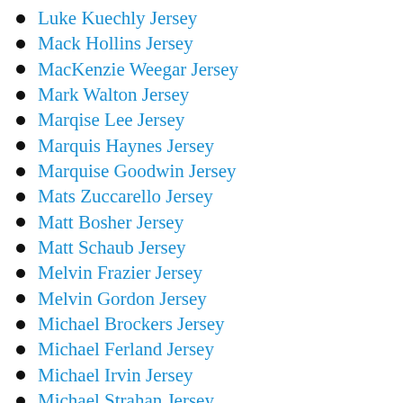Luke Kuechly Jersey
Mack Hollins Jersey
MacKenzie Weegar Jersey
Mark Walton Jersey
Marqise Lee Jersey
Marquis Haynes Jersey
Marquise Goodwin Jersey
Mats Zuccarello Jersey
Matt Bosher Jersey
Matt Schaub Jersey
Melvin Frazier Jersey
Melvin Gordon Jersey
Michael Brockers Jersey
Michael Ferland Jersey
Michael Irvin Jersey
Michael Strahan Jersey